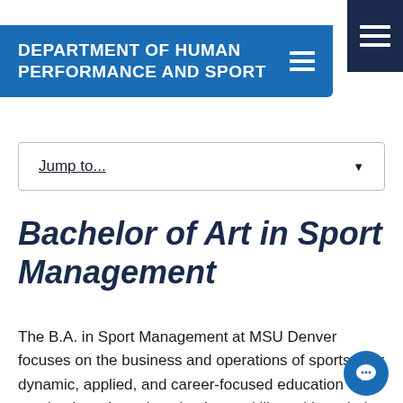DEPARTMENT OF HUMAN PERFORMANCE AND SPORT
Jump to...
Bachelor of Art in Sport Management
The B.A. in Sport Management at MSU Denver focuses on the business and operations of sports. Our dynamic, applied, and career-focused education emphasizes the unique business skills and knowledge required for success in the sport industry. The COSMA accredited curriculum